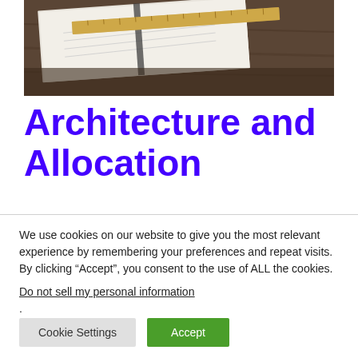[Figure (photo): Photo of an open book/notebook with a wooden ruler on a dark wooden desk surface]
Architecture and Allocation
We use cookies on our website to give you the most relevant experience by remembering your preferences and repeat visits. By clicking “Accept”, you consent to the use of ALL the cookies.
Do not sell my personal information.